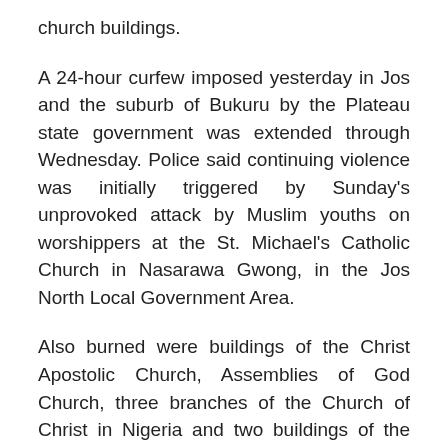church buildings.
A 24-hour curfew imposed yesterday in Jos and the suburb of Bukuru by the Plateau state government was extended through Wednesday. Police said continuing violence was initially triggered by Sunday’s unprovoked attack by Muslim youths on worshippers at the St. Michael’s Catholic Church in Nasarawa Gwong, in the Jos North Local Government Area.
Also burned were buildings of the Christ Apostolic Church, Assemblies of God Church, three branches of the Church of Christ in Nigeria and two buildings of the Evangelical Church of West Africa, Christian leaders said.
The number of casualties continued to grow, reportedly reaching more than 100 as security forces tried to rein in rioters, with both Christian and Muslim groups still